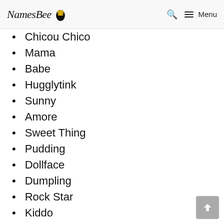NamesBee [logo] — Search — Menu
Chicou Chico
Mama
Babe
Hugglytink
Sunny
Amore
Sweet Thing
Pudding
Dollface
Dumpling
Rock Star
Kiddo
Flip Flap
Baby
Willow Chico
Pretty Lady